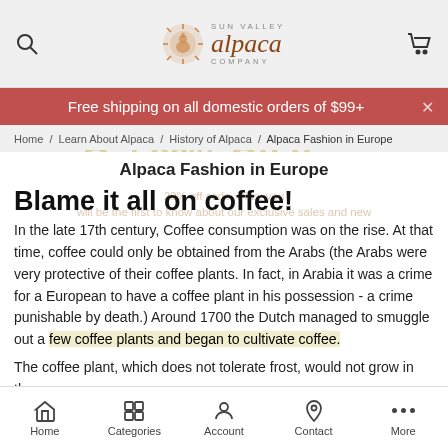Sun Valley Alpaca Company — header with search and cart icons
Free shipping on all domestic orders of $99+
Home / Learn About Alpaca / History of Alpaca / Alpaca Fashion in Europe
Alpaca Fashion in Europe
Blame it all on coffee!
In the late 17th century, Coffee consumption was on the rise. At that time, coffee could only be obtained from the Arabs (the Arabs were very protective of their coffee plants. In fact, in Arabia it was a crime for a European to have a coffee plant in his possession - a crime punishable by death.) Around 1700 the Dutch managed to smuggle out a few coffee plants and began to cultivate coffee.
The coffee plant, which does not tolerate frost, would not grow in the
Home   Categories   Account   Contact   More